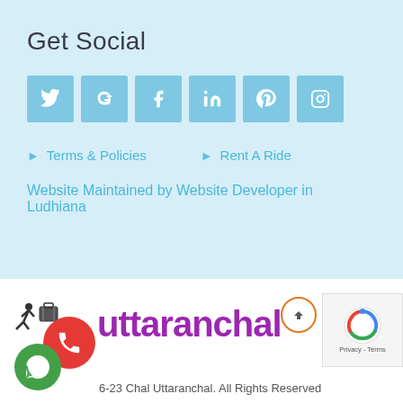Get Social
[Figure (illustration): Six social media icon buttons in light blue: Twitter, Google+, Facebook, LinkedIn, Pinterest, Instagram]
Terms & Policies
Rent A Ride
Website Maintained by Website Developer in Ludhiana
[Figure (logo): Chal Uttaranchal logo with walking person icon, suitcase, red and green phone icons, and purple brand name text 'uttaranchal']
6-23 Chal Uttaranchal. All Rights Reserved